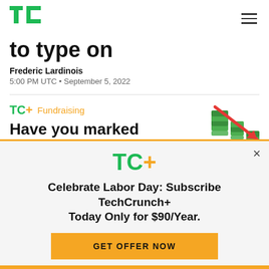[Figure (logo): TechCrunch TC logo in green]
to type on
Frederic Lardinois
5:00 PM UTC • September 5, 2022
TC+ Fundraising
Have you marked down your portfolio yet? You are running out of time to hide
[Figure (illustration): Stack of money with red downward arrow]
Celebrate Labor Day: Subscribe TechCrunch+ Today Only for $90/Year.
GET OFFER NOW